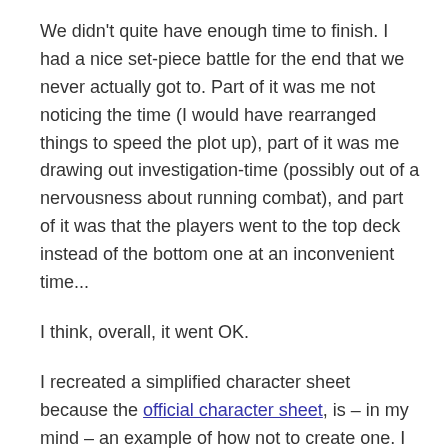We didn't quite have enough time to finish. I had a nice set-piece battle for the end that we never actually got to. Part of it was me not noticing the time (I would have rearranged things to speed the plot up), part of it was me drawing out investigation-time (possibly out of a nervousness about running combat), and part of it was that the players went to the top deck instead of the bottom one at an inconvenient time...
I think, overall, it went OK.
I recreated a simplified character sheet because the official character sheet, is – in my mind – an example of how not to create one. I tried to keep it intuitive, and stuck the skill packages up front to help the players get an idea of who their characters were.
I ran a somewhat altered version of the Cargo of Doom – a quickstart adventure that Paragon published. The big change? Instead of an ocean liner, I set the adventure on an enormous